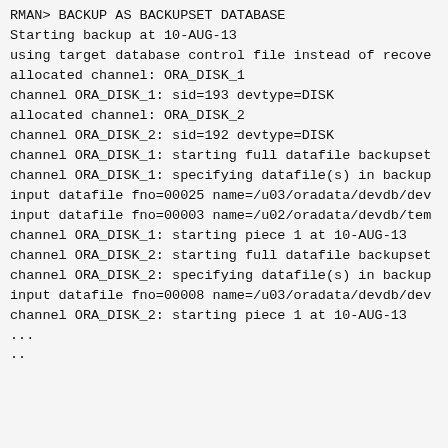[Figure (screenshot): Terminal/RMAN output showing Oracle RMAN backup command execution log with channel allocations and datafile backup progress.]